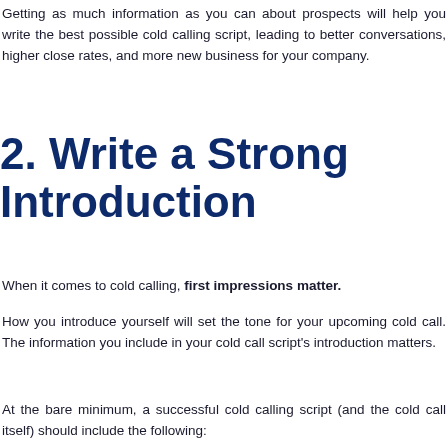Getting as much information as you can about prospects will help you write the best possible cold calling script, leading to better conversations, higher close rates, and more new business for your company.
2. Write a Strong Introduction
When it comes to cold calling, first impressions matter.
How you introduce yourself will set the tone for your upcoming cold call. The information you include in your cold call script's introduction matters.
At the bare minimum, a successful cold calling script (and the cold call itself) should include the following: